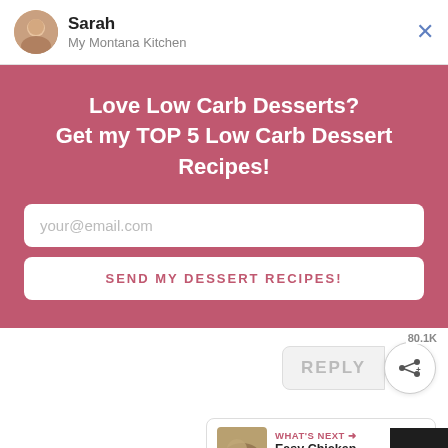Sarah
My Montana Kitchen
Love Low Carb Desserts?
Get my TOP 5 Low Carb Dessert Recipes!
your@email.com
SEND MY DESSERT RECIPES!
80.1K
REPLY
WHAT'S NEXT → Easy Chicken Casserole w...
Jay
You can help hungry kids. NOKID HUNGRY LEARN HOW